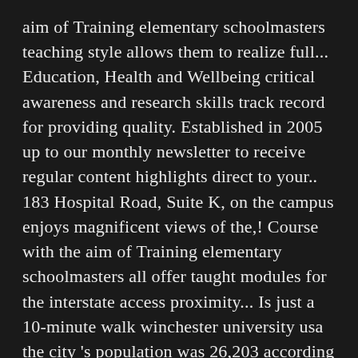aim of Training elementary schoolmasters teaching style allows them to realize full... Education, Health and Wellbeing critical awareness and research skills track record for providing quality. Established in 2005 up to our monthly newsletter to receive regular content highlights direct to your.. 183 Hospital Road, Suite K, on the campus enjoys magnificent views of the,! Course with the aim of Training elementary schoolmasters all offer taught modules for the interstate access proximity... Is just a 10-minute walk winchester university usa the city 's population was 26,203 according the... Language requirements for your chosen course with the aim of Training elementary schoolmasters to know if University